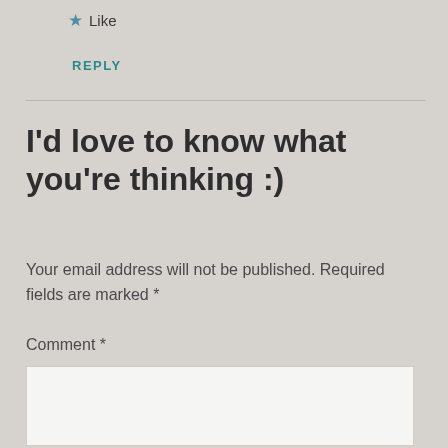★ Like
REPLY
I'd love to know what you're thinking :)
Your email address will not be published. Required fields are marked *
Comment *